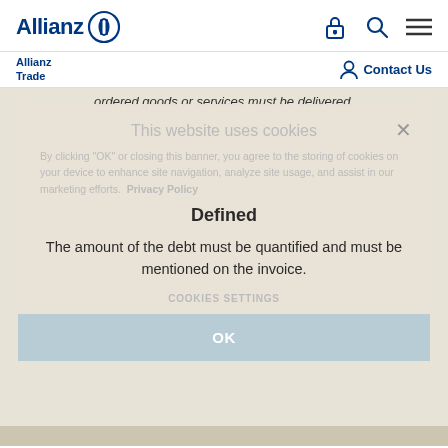Allianz logo — Allianz Trade | Contact Us
ordered goods or services must be delivered.
This website uses cookies
By clicking "OK" or closing this banner, you agree to the storing of cookies on your device to enhance site navigation, analyze site usage, and assist in our marketing efforts. Privacy Policy
Defined
The amount of the debt must be quantified and must be mentioned on the invoice.
COOKIES SETTINGS
OK